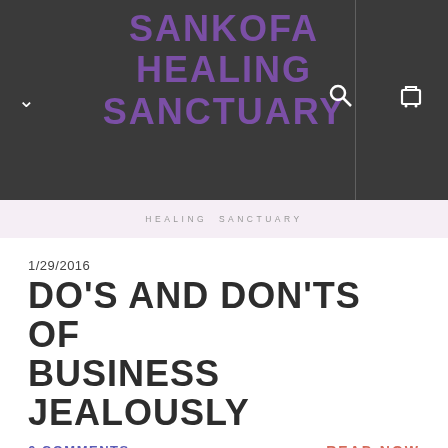SANKOFA HEALING SANCTUARY
[Figure (logo): Sankofa Healing Sanctuary logo watermark strip with small text reading HEALING SANCTUARY]
1/29/2016
DO'S AND DON'TS OF BUSINESS JEALOUSLY
6 COMMENTS
READ NOW
1/22/2016
TAROT FOR THE MODERN DATED BABY